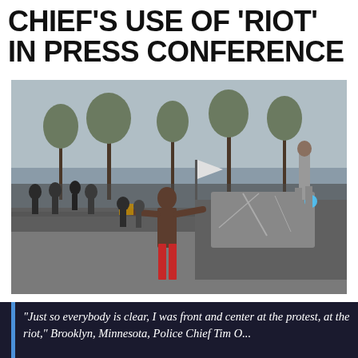CHIEF'S USE OF 'RIOT' IN PRESS CONFERENCE
[Figure (photo): Outdoor scene of a protest/riot. A shirtless man in the foreground appears to throw an object toward a police vehicle with a smashed windshield. A person stands on top of the vehicle. A crowd of people and bare winter trees are visible in the background. A white banner/flag is visible in the crowd.]
“Just so everybody is clear, I was front and center at the protest, at the riot,” Brooklyn, Minnesota, Police Chief Tim O...